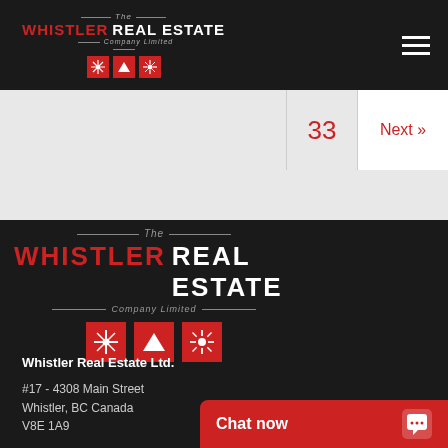The WHISTLER REAL ESTATE Company Limited
33  Next »
[Figure (logo): The Whistler Real Estate Company Limited logo with three red icon squares (snowflake, mountain, starburst) on dark background]
Whistler Real Estate Ltd.
#17 - 4308 Main Street
Whistler, BC Canada
V8E 1A9
Chat now